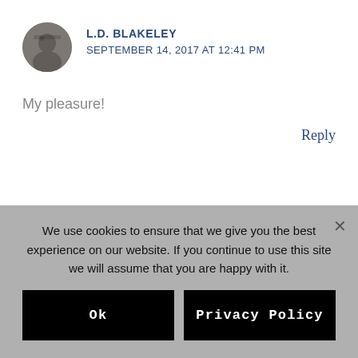[Figure (photo): Circular avatar photo of commenter L.D. Blakeley]
L.D. BLAKELEY
SEPTEMBER 14, 2017 AT 12:41 PM
My pleasure!
Reply
Leave a Comment
We use cookies to ensure that we give you the best experience on our website. If you continue to use this site we will assume that you are happy with it.
Ok
Privacy Policy